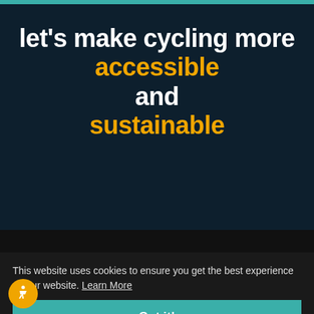let's make cycling more accessible and sustainable
Visit ATC
1370 ... 500
Pasadena, CA 91103
Tue-Sat: 11am-6pm
Sun-Mon: Closed
This website uses cookies to ensure you get the best experience on our website.
Learn More
Got it!
Contact ATC
(626) 765-6601